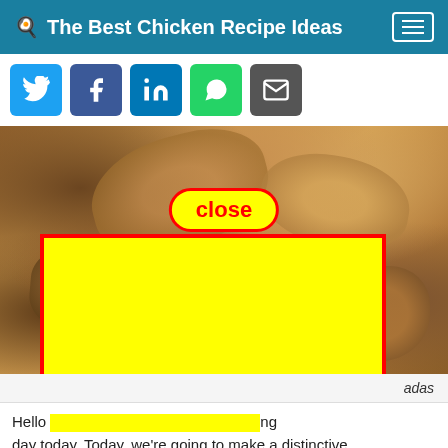🍳 The Best Chicken Recipe Ideas
[Figure (screenshot): Social share buttons: Twitter (blue), Facebook (dark blue), LinkedIn (blue), WhatsApp (green), Email (grey)]
[Figure (photo): Photo of chicken empanadas/pastries close-up, with a yellow advertisement overlay and a red-bordered 'close' button]
adas
Hello ... ng day today. Today, we're going to make a distinctive